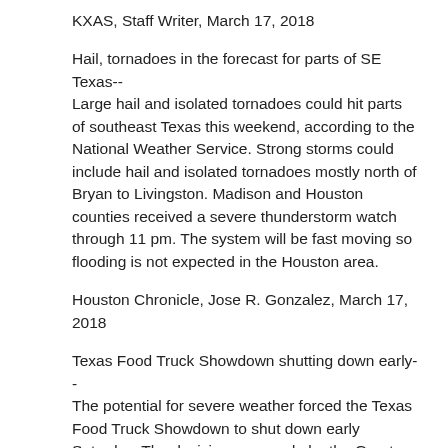KXAS, Staff Writer, March 17, 2018
Hail, tornadoes in the forecast for parts of SE Texas-- Large hail and isolated tornadoes could hit parts of southeast Texas this weekend, according to the National Weather Service. Strong storms could include hail and isolated tornadoes mostly north of Bryan to Livingston. Madison and Houston counties received a severe thunderstorm watch through 11 pm. The system will be fast moving so flooding is not expected in the Houston area.
Houston Chronicle, Jose R. Gonzalez, March 17, 2018
Texas Food Truck Showdown shutting down early-- The potential for severe weather forced the Texas Food Truck Showdown to shut down early Saturday. The decision was made by the Greater Waco Chamber of Commerce around 4 pm to close the event out of concern for the safety of visitors. The showdown will officially end at 5 pm, and event staff urge caution as attendees leave the area.
KWTX, Matthey Ablon, March 17, 2018
Storms could bring baseball-sized hail to Dallas-Fort Worth on